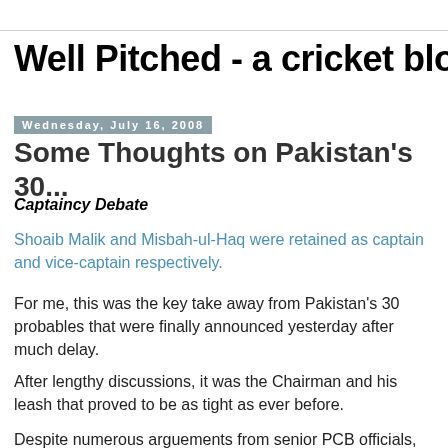Well Pitched - a cricket blog
Wednesday, July 16, 2008
Some Thoughts on Pakistan's 30...
Captaincy Debate
Shoaib Malik and Misbah-ul-Haq were retained as captain and vice-captain respectively.
For me, this was the key take away from Pakistan's 30 probables that were finally announced yesterday after much delay.
After lengthy discussions, it was the Chairman and his leash that proved to be as tight as ever before.
Despite numerous arguements from senior PCB officials, as well as, some senior players, DNA had none of it and